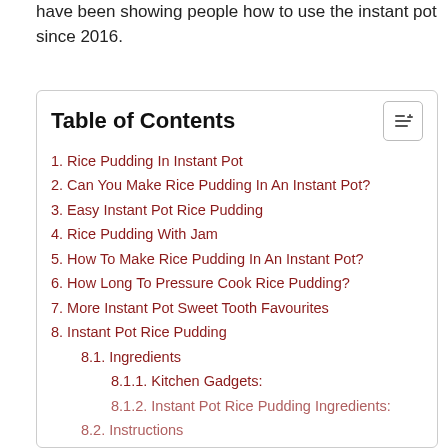have been showing people how to use the instant pot since 2016.
Table of Contents
1. Rice Pudding In Instant Pot
2. Can You Make Rice Pudding In An Instant Pot?
3. Easy Instant Pot Rice Pudding
4. Rice Pudding With Jam
5. How To Make Rice Pudding In An Instant Pot?
6. How Long To Pressure Cook Rice Pudding?
7. More Instant Pot Sweet Tooth Favourites
8. Instant Pot Rice Pudding
8.1. Ingredients
8.1.1. Kitchen Gadgets:
8.1.2. Instant Pot Rice Pudding Ingredients:
8.2. Instructions